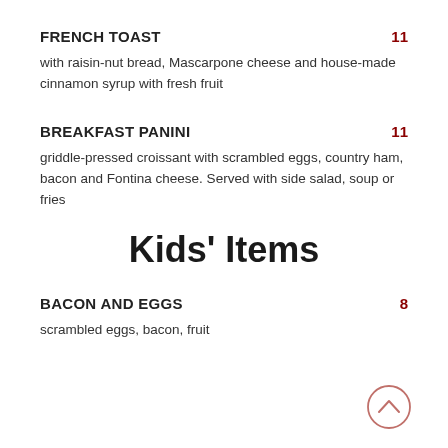FRENCH TOAST
with raisin-nut bread, Mascarpone cheese and house-made cinnamon syrup with fresh fruit
BREAKFAST PANINI
griddle-pressed croissant with scrambled eggs, country ham, bacon and Fontina cheese. Served with side salad, soup or fries
Kids' Items
BACON AND EGGS
scrambled eggs, bacon, fruit